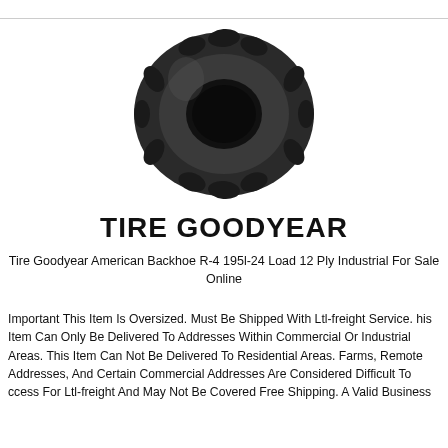[Figure (photo): A Goodyear American Backhoe R-4 industrial tire shown at an angle, with rugged deep tread pattern, on a white background.]
TIRE GOODYEAR
Tire Goodyear American Backhoe R-4 195l-24 Load 12 Ply Industrial For Sale Online
Important This Item Is Oversized. Must Be Shipped With Ltl-freight Service. his Item Can Only Be Delivered To Addresses Within Commercial Or Industrial Areas. This Item Can Not Be Delivered To Residential Areas. Farms, Remote Addresses, And Certain Commercial Addresses Are Considered Difficult To ccess For Ltl-freight And May Not Be Covered Free Shipping. A Valid Business